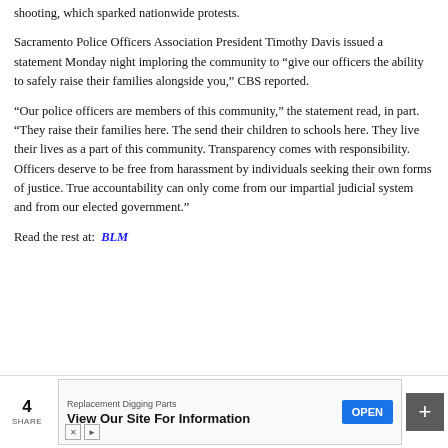shooting, which sparked nationwide protests.
Sacramento Police Officers Association President Timothy Davis issued a statement Monday night imploring the community to “give our officers the ability to safely raise their families alongside you,” CBS reported.
“Our police officers are members of this community,” the statement read, in part. “They raise their families here. The send their children to schools here. They live their lives as a part of this community. Transparency comes with responsibility. Officers deserve to be free from harassment by individuals seeking their own forms of justice. True accountability can only come from our impartial judicial system and from our elected government.”
Read the rest at:  BLM
4 SHARE
[Figure (other): Advertisement banner for Replacement Digging Parts: View Our Site For Information, with an OPEN button]